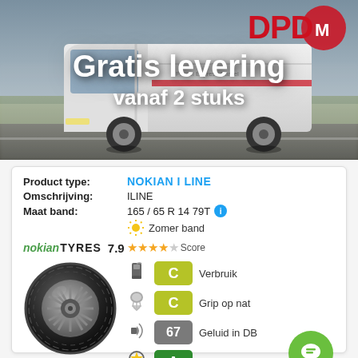[Figure (photo): DPD delivery van driving on road with text overlay 'Gratis levering vanaf 2 stuks']
Gratis levering
vanaf 2 stuks
| Veld | Waarde |
| --- | --- |
| Product type: | NOKIAN I LINE |
| Omschrijving: | ILINE |
| Maat band: | 165 / 65 R 14 79T |
Zomer band
nokian TYRES 7.9 ★★★★☆ Score
[Figure (illustration): Nokian tyre product image]
C Verbruik
C Grip op nat
67 Geluid in DB
A Bandenmark